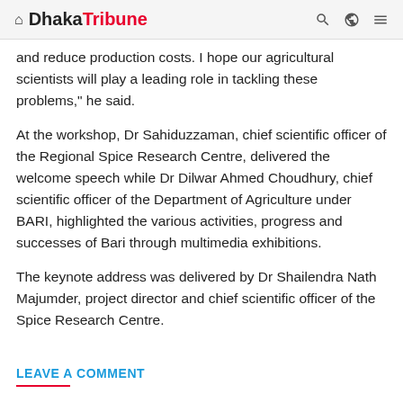Dhaka Tribune
and reduce production costs. I hope our agricultural scientists will play a leading role in tackling these problems," he said.
At the workshop, Dr Sahiduzzaman, chief scientific officer of the Regional Spice Research Centre, delivered the welcome speech while Dr Dilwar Ahmed Choudhury, chief scientific officer of the Department of Agriculture under BARI, highlighted the various activities, progress and successes of Bari through multimedia exhibitions.
The keynote address was delivered by Dr Shailendra Nath Majumder, project director and chief scientific officer of the Spice Research Centre.
LEAVE A COMMENT